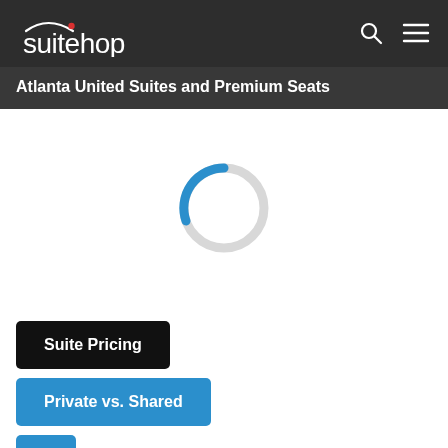suitehop
Atlanta United Suites and Premium Seats
[Figure (other): Circular loading spinner with a blue arc segment on a light gray ring background, indicating page content is loading.]
Suite Pricing
Private vs. Shared
(partial button cut off at bottom)